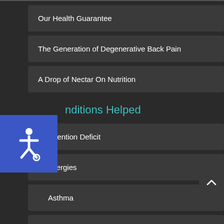Our Health Guarantee
The Generation of Degenerative Back Pain
A Drop of Nectar On Nutrition
Conditions Helped
Attention Deficit
Allergies
Asthma
Osteoporosis